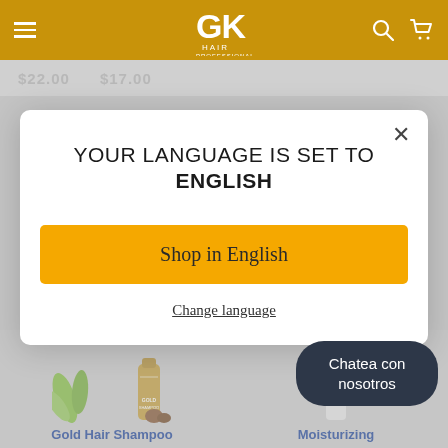GK Hair Professional
$22.00   $17.00
YOUR LANGUAGE IS SET TO ENGLISH
Shop in English
Change language
Chatea con nosotros
Gold Hair Shampoo
Moisturizing